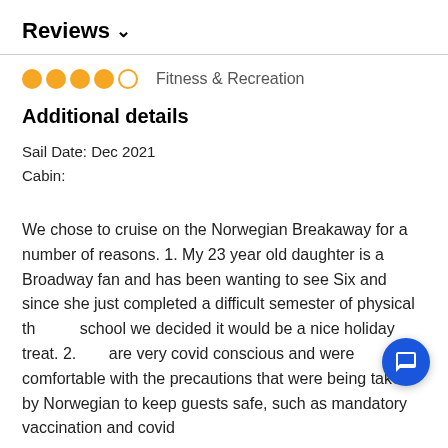Reviews ∨
[Figure (other): 4 out of 5 stars rating with orange filled circles and one empty circle, followed by category label 'Fitness & Recreation']
Additional details
Sail Date: Dec 2021
Cabin:
We chose to cruise on the Norwegian Breakaway for a number of reasons. 1. My 23 year old daughter is a Broadway fan and has been wanting to see Six and since she just completed a difficult semester of physical therapy school we decided it would be a nice holiday treat. 2. We are very covid conscious and were comfortable with the precautions that were being taken by Norwegian to keep guests safe, such as mandatory vaccination and covid